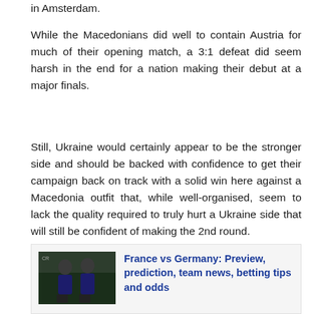in Amsterdam.
While the Macedonians did well to contain Austria for much of their opening match, a 3:1 defeat did seem harsh in the end for a nation making their debut at a major finals.
Still, Ukraine would certainly appear to be the stronger side and should be backed with confidence to get their campaign back on track with a solid win here against a Macedonia outfit that, while well-organised, seem to lack the quality required to truly hurt a Ukraine side that will still be confident of making the 2nd round.
[Figure (photo): Two France football players in dark blue training kit]
France vs Germany: Preview, prediction, team news, betting tips and odds